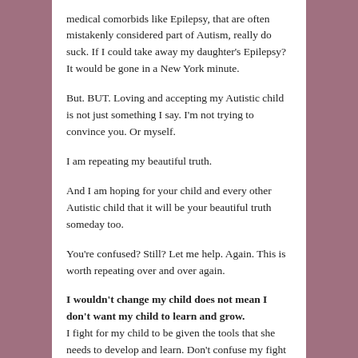medical comorbids like Epilepsy, that are often mistakenly considered part of Autism, really do suck.  If I could take away my daughter's Epilepsy? It would be gone in a New York minute.
But.  BUT.  Loving and accepting my Autistic child is not just something I say.  I'm not trying to convince you.  Or myself.
I am repeating my beautiful truth.
And I am hoping for your child and every other Autistic child that it will be your beautiful truth someday too.
You're confused?  Still?   Let me help.  Again.  This is worth repeating over and over again.
I wouldn't change my child does not mean I don't want my child to learn and grow. I fight for my child to be given the tools that she needs to develop and learn.  Don't confuse my fight for her to be given the tools to access education with a desire for her to